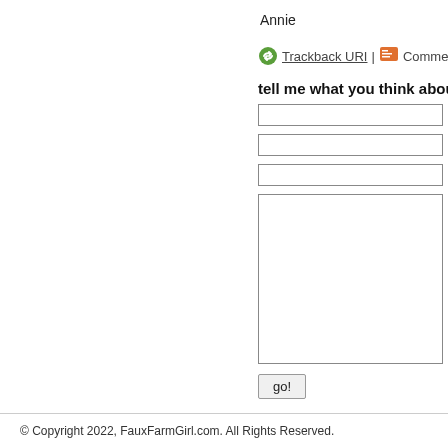Annie
Trackback URI | Comments
tell me what you think abou
[Figure (other): Web comment form with three text input fields, one large textarea, and a 'go!' submit button]
© Copyright 2022, FauxFarmGirl.com. All Rights Reserved.